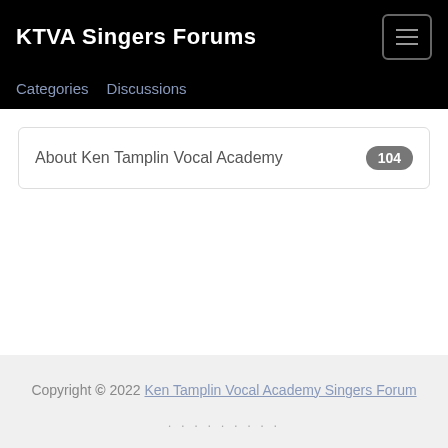KTVA Singers Forums
Categories    Discussions
About Ken Tamplin Vocal Academy  104
Copyright © 2022 Ken Tamplin Vocal Academy Singers Forum
. . . . . . . . .